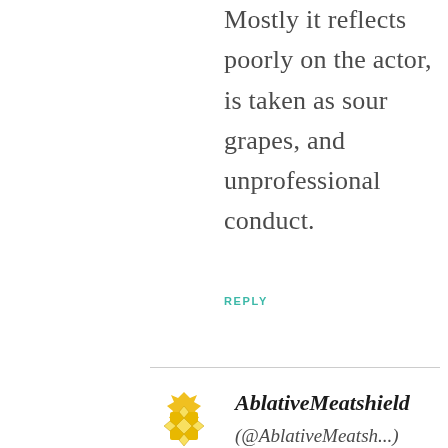Mostly it reflects poorly on the actor, is taken as sour grapes, and unprofessional conduct.
REPLY
AblativeMeatshield
(@AblativeMeatsh...)